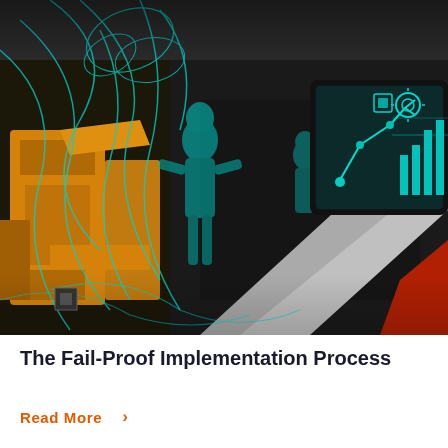[Figure (photo): Industrial worker in grey jacket holding a tablet showing manufacturing dashboards with robotic arm graphics and teal digital overlays. Background features yellow industrial machinery and teal wireframe/network visual effects.]
The Fail-Proof Implementation Process
Read More >